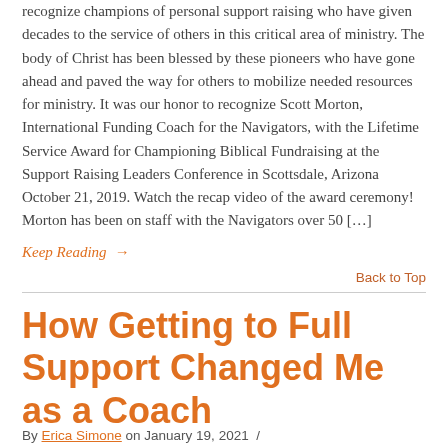recognize champions of personal support raising who have given decades to the service of others in this critical area of ministry. The body of Christ has been blessed by these pioneers who have gone ahead and paved the way for others to mobilize needed resources for ministry. It was our honor to recognize Scott Morton, International Funding Coach for the Navigators, with the Lifetime Service Award for Championing Biblical Fundraising at the Support Raising Leaders Conference in Scottsdale, Arizona October 21, 2019. Watch the recap video of the award ceremony! Morton has been on staff with the Navigators over 50 […]
Keep Reading →
Back to Top
How Getting to Full Support Changed Me as a Coach
By Erica Simone on January 19, 2021 /